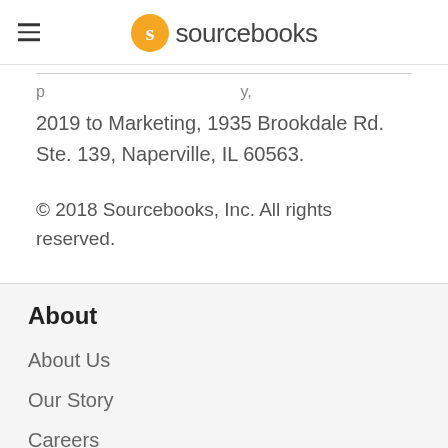sourcebooks
2019 to Marketing, 1935 Brookdale Rd. Ste. 139, Naperville, IL 60563.
© 2018 Sourcebooks, Inc. All rights reserved.
About
About Us
Our Story
Careers
Bl…